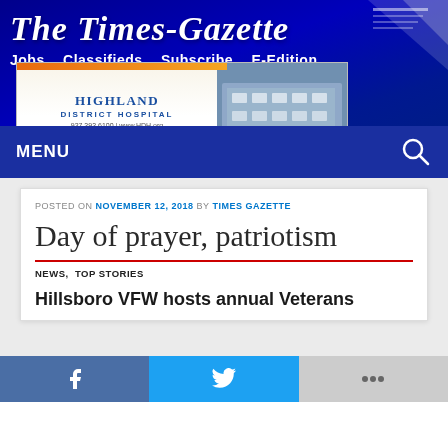The Times-Gazette
Jobs  Classifieds  Subscribe  E-Edition
[Figure (photo): Highland District Hospital advertisement banner with logo and hospital building photo]
MENU
POSTED ON NOVEMBER 12, 2018 BY TIMES GAZETTE
Day of prayer, patriotism
NEWS, TOP STORIES
Hillsboro VFW hosts annual Veterans